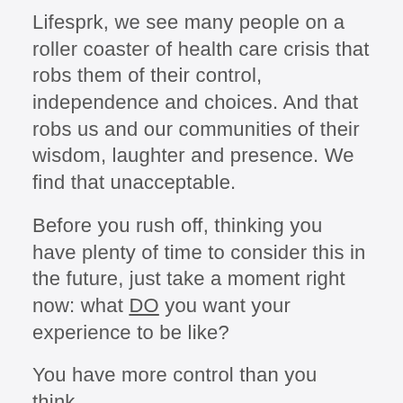Lifesprk, we see many people on a roller coaster of health care crisis that robs them of their control, independence and choices. And that robs us and our communities of their wisdom, laughter and presence. We find that unacceptable.
Before you rush off, thinking you have plenty of time to consider this in the future, just take a moment right now: what DO you want your experience to be like?
You have more control than you think.